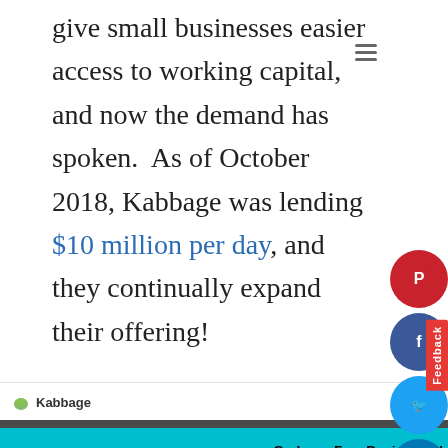give small businesses easier access to working capital, and now the demand has spoken.  As of October 2018, Kabbage was lending $10 million per day, and they continually expand their offering!
[Figure (screenshot): Screenshot of the Kabbage website showing the Kabbage logo, navigation links (Business Loans, Company, Resources, Support), an Apply Now button, and Sign In link.]
Grab our Free Business Plan Template and Get Growth Tasks for each Month of the Year
First Name
E-mail address
SIGN ME UP